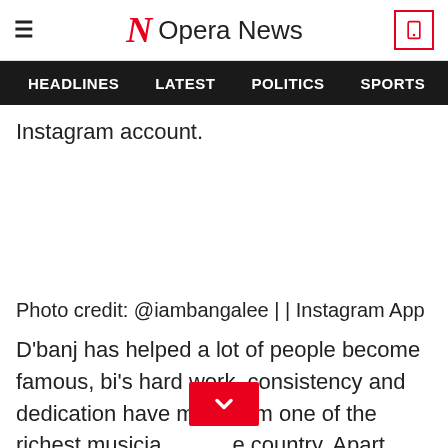Opera News — hamburger menu, logo, phone icon
HEADLINES  LATEST  POLITICS  SPORTS
Instagram account.
Photo credit: @iambangalee | | Instagram App
D'banj has helped a lot of people become famous, bi's hard work, consistency and dedication have made him one of the richest musicia...e country. Apart from